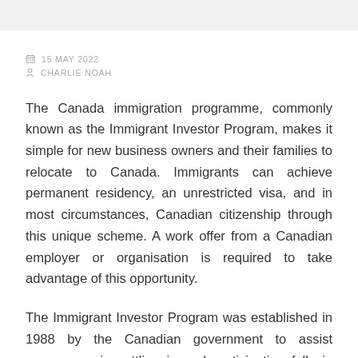15 MAY 2022
CHARLIE NOAH
The Canada immigration programme, commonly known as the Immigrant Investor Program, makes it simple for new business owners and their families to relocate to Canada. Immigrants can achieve permanent residency, an unrestricted visa, and in most circumstances, Canadian citizenship through this unique scheme. A work offer from a Canadian employer or organisation is required to take advantage of this opportunity.
The Immigrant Investor Program was established in 1988 by the Canadian government to assist newcomers in settling in and participating fully in Canadian society and the economy. No matter their age, foreigners can qualify for